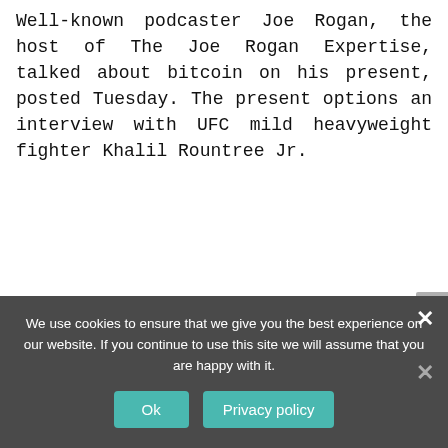Well-known podcaster Joe Rogan, the host of The Joe Rogan Expertise, talked about bitcoin on his present, posted Tuesday. The present options an interview with UFC mild heavyweight fighter Khalil Rountree Jr.
We use cookies to ensure that we give you the best experience on our website. If you continue to use this site we will assume that you are happy with it.